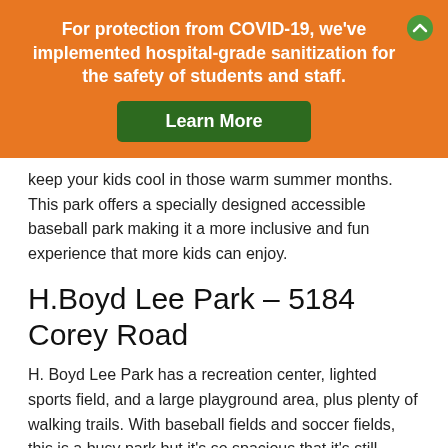For protection from COVID-19, we've implemented hospital-grade sanitization for the safety of students and staff.
Learn More
keep your kids cool in those warm summer months. This park offers a specially designed accessible baseball park making it a more inclusive and fun experience that more kids can enjoy.
H.Boyd Lee Park – 5184 Corey Road
H. Boyd Lee Park has a recreation center, lighted sports field, and a large playground area, plus plenty of walking trails. With baseball fields and soccer fields, this is a busy park but it's so spacious that it's still peaceful and pleasant. Great for walks and picnics, too!
Peppermint Park – 1400 Brownlea Drive
Next up on the list is the beautiful Peppermint Park is small